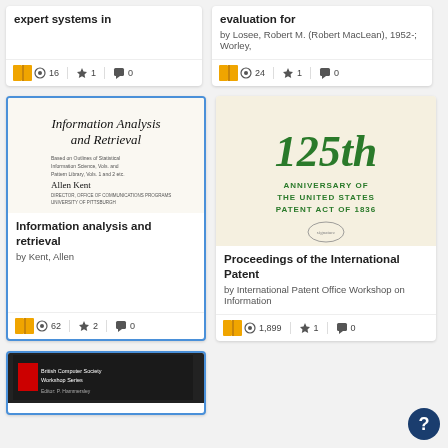[Figure (screenshot): Library search results grid showing book cards with cover images, titles, authors, and stats (views, favorites, comments)]
expert systems in
by Losee, Robert M. (Robert MacLean), 1952-; Worley,
16 views, 1 favorite, 0 comments
24 views, 1 favorite, 0 comments
[Figure (photo): Book cover: Information Analysis and Retrieval by Allen Kent]
Information analysis and retrieval
by Kent, Allen
62 views, 2 favorites, 0 comments
[Figure (photo): Book cover: 125th Anniversary of the United States Patent Act of 1836]
Proceedings of the International Patent
by International Patent Office Workshop on Information
1,899 views, 1 favorite, 0 comments
[Figure (photo): Book cover: British Computer Society Workshop Series, Editor P. Hammersley]